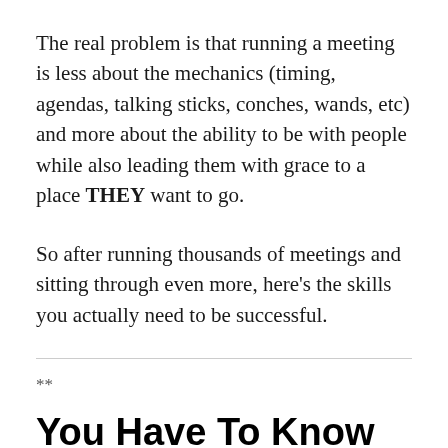The real problem is that running a meeting is less about the mechanics (timing, agendas, talking sticks, conches, wands, etc) and more about the ability to be with people while also leading them with grace to a place THEY want to go.
So after running thousands of meetings and sitting through even more, here's the skills you actually need to be successful.
**
You Have To Know How To Deal With Breakdowns With Grace And Efficiency